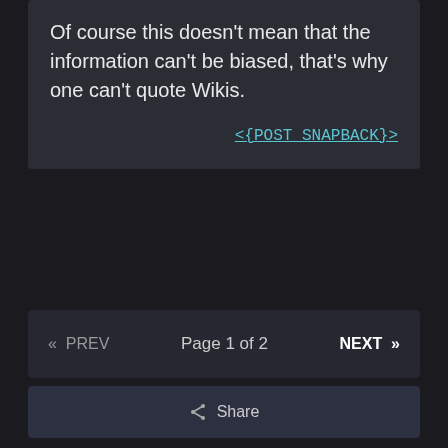Of course this doesn't mean that the information can't be biased, that's why one can't quote Wikis.
<{POST_SNAPBACK}>
« PREV   Page 1 of 2   NEXT »
⚠ This topic is now closed to further replies.
Share